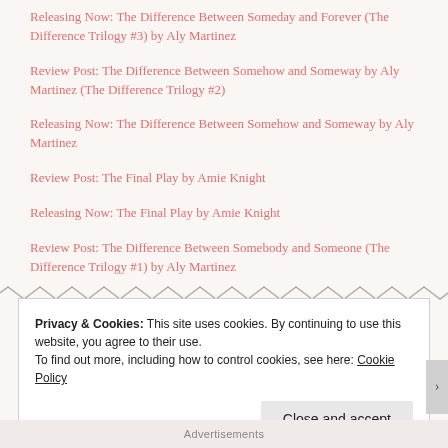Releasing Now: The Difference Between Someday and Forever (The Difference Trilogy #3) by Aly Martinez
Review Post: The Difference Between Somehow and Someway by Aly Martinez (The Difference Trilogy #2)
Releasing Now: The Difference Between Somehow and Someway by Aly Martinez
Review Post: The Final Play by Amie Knight
Releasing Now: The Final Play by Amie Knight
Review Post: The Difference Between Somebody and Someone (The Difference Trilogy #1) by Aly Martinez
Privacy & Cookies: This site uses cookies. By continuing to use this website, you agree to their use.
To find out more, including how to control cookies, see here: Cookie Policy
Advertisements